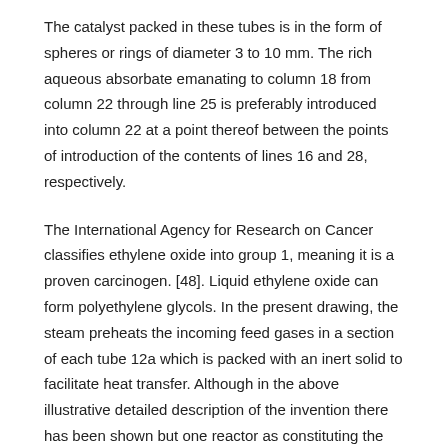The catalyst packed in these tubes is in the form of spheres or rings of diameter 3 to 10 mm. The rich aqueous absorbate emanating to column 18 from column 22 through line 25 is preferably introduced into column 22 at a point thereof between the points of introduction of the contents of lines 16 and 28, respectively.
The International Agency for Research on Cancer classifies ethylene oxide into group 1, meaning it is a proven carcinogen. [48]. Liquid ethylene oxide can form polyethylene glycols. In the present drawing, the steam preheats the incoming feed gases in a section of each tube 12a which is packed with an inert solid to facilitate heat transfer. Although in the above illustrative detailed description of the invention there has been shown but one reactor as constituting the primary reaction zone, it is to be understood that a plurality of such reactors arranged in parallel or series flow may be comprised within the first reaction zone.